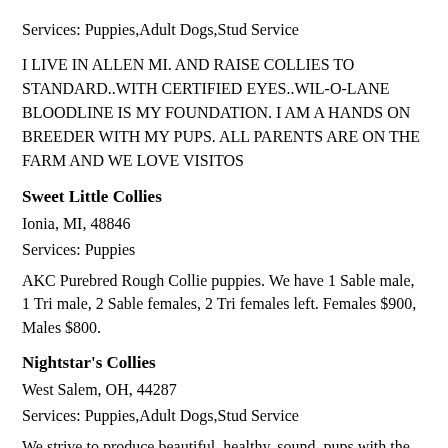Services: Puppies,Adult Dogs,Stud Service
I LIVE IN ALLEN MI. AND RAISE COLLIES TO STANDARD..WITH CERTIFIED EYES..WIL-O-LANE BLOODLINE IS MY FOUNDATION. I AM A HANDS ON BREEDER WITH MY PUPS. ALL PARENTS ARE ON THE FARM AND WE LOVE VISITOS
Sweet Little Collies
Ionia, MI, 48846
Services: Puppies
AKC Purebred Rough Collie puppies. We have 1 Sable male, 1 Tri male, 2 Sable females, 2 Tri females left. Females $900, Males $800.
Nightstar's Collies
West Salem, OH, 44287
Services: Puppies,Adult Dogs,Stud Service
We strive to produce beautiful, healthy, sound, pups with the